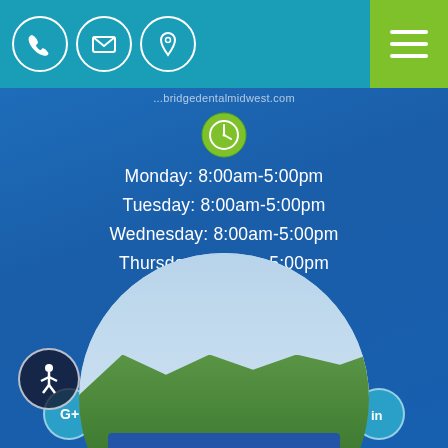[Figure (screenshot): Teal top navigation bar with three white circle icons (phone, email, location) on the left and a green hamburger menu button on the right]
...@sagebridgedentalmidwest.com
[Figure (infographic): Green circle with clock icon]
Monday: 8:00am-5:00pm
Tuesday: 8:00am-5:00pm
Wednesday: 8:00am-5:00pm
Thursday: 8:00am-5:00pm
[Figure (infographic): Row of six social media icons in teal circles: Google+, Facebook, Twitter, Yelp, Instagram, LinkedIn]
[Figure (photo): Circular cropped outdoor photo showing a blue dental office sign with 'Sa...' text, trees and sky in background]
[Figure (infographic): Dark accessibility button (wheelchair icon) in bottom left corner]